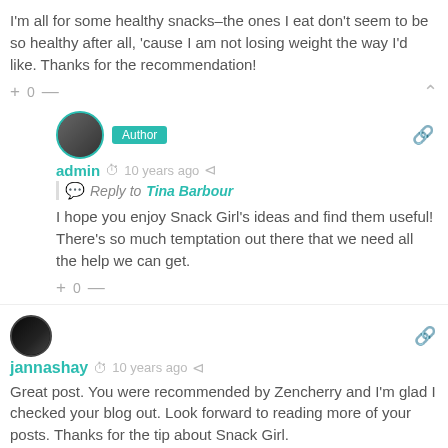I'm all for some healthy snacks–the ones I eat don't seem to be so healthy after all, 'cause I am not losing weight the way I'd like. Thanks for the recommendation!
+ 0 —
admin  10 years ago
Reply to Tina Barbour
I hope you enjoy Snack Girl's ideas and find them useful! There's so much temptation out there that we need all the help we can get.
+ 0 —
jannashay  10 years ago
Great post. You were recommended by Zencherry and I'm glad I checked your blog out. Look forward to reading more of your posts. Thanks for the tip about Snack Girl.